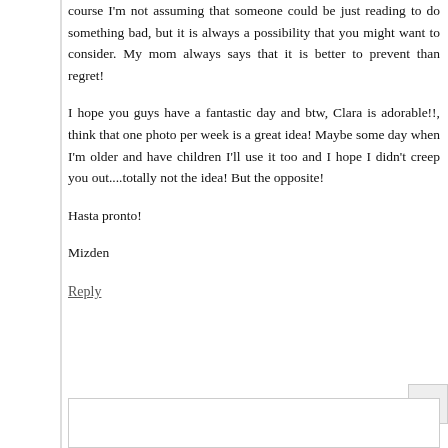course I'm not assuming that someone could be just reading to do something bad, but it is always a possibility that you might want to consider. My mom always says that it is better to prevent than regret!
I hope you guys have a fantastic day and btw, Clara is adorable!!, think that one photo per week is a great idea! Maybe some day when I'm older and have children I'll use it too and I hope I didn't creep you out....totally not the idea! But the opposite!
Hasta pronto!
Mizden
Reply